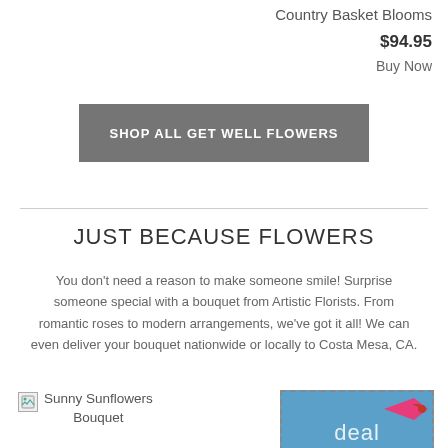Country Basket Blooms
$94.95
Buy Now
SHOP ALL GET WELL FLOWERS
JUST BECAUSE FLOWERS
You don't need a reason to make someone smile! Surprise someone special with a bouquet from Artistic Florists. From romantic roses to modern arrangements, we've got it all! We can even deliver your bouquet nationwide or locally to Costa Mesa, CA.
[Figure (other): Broken image placeholder for Sunny Sunflowers Bouquet]
Sunny Sunflowers Bouquet
[Figure (other): Deal banner with airplane icon on blue background with dashed border]